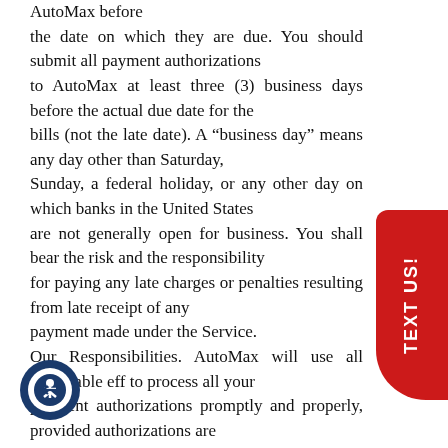AutoMax before the date on which they are due. You should submit all payment authorizations to AutoMax at least three (3) business days before the actual due date for the bills (not the late date). A “business day” means any day other than Saturday, Sunday, a federal holiday, or any other day on which banks in the United States are not generally open for business. You shall bear the risk and the responsibility for paying any late charges or penalties resulting from late receipt of any payment made under the Service. Our Responsibilities. AutoMax will use all reasonable eff to process all your payment authorizations promptly and properly, provided authorizations are actually received by AutoMax. AutoMax will not be responsible for any failure to process a payment authorization that is not actually and completely received by AutoMax for any reason, including user error,